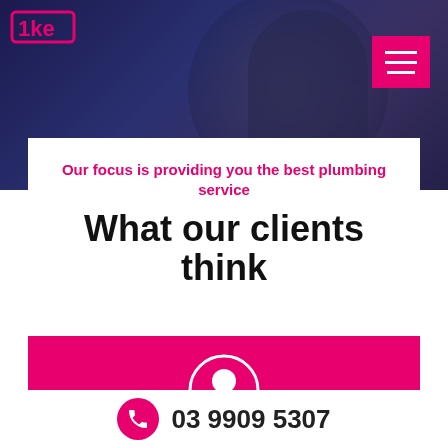[Figure (photo): Dark blue background hero photo of a person, partially visible, with a blurred plumbing/work context.]
[Figure (logo): Pink/magenta stylized logo text in top-left corner of hero image]
Our focus is providing you the best plumbing service
What our clients think
[Figure (illustration): Pink/magenta background panel with a white user/person avatar icon circle in the center]
03 9909 5307